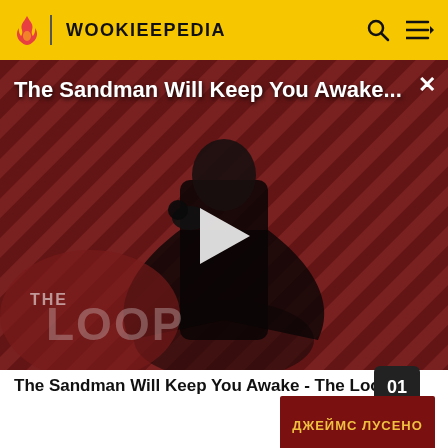WOOKIEEPEDIA
The Sandman Will Keep You Awake...
[Figure (screenshot): Video thumbnail showing a dark-cloaked figure with a raven against a diagonal striped red and dark background, with 'THE LOOP' logo text overlaid and a play button in the center]
The Sandman Will Keep You Awake - The Loop
[Figure (photo): Book cover with dark red background showing Cyrillic text ДЖЕЙМС ЛУСЕНО (James Luceno) - Russian-language edition]
Russian-language edition